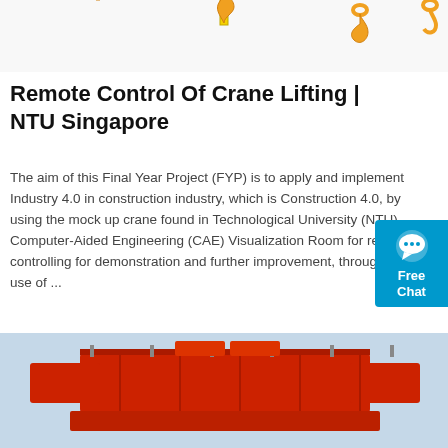[Figure (photo): Top strip showing crane hook images on white background - orange/yellow hooks visible]
Remote Control Of Crane Lifting | NTU Singapore
The aim of this Final Year Project (FYP) is to apply and implement Industry 4.0 in construction industry, which is Construction 4.0, by using the mock up crane found in Technological University (NTU) Computer-Aided Engineering (CAE) Visualization Room for remote controlling for demonstration and further improvement, through the use of ...
[Figure (other): Free Chat widget button with chat bubble icon, cyan/blue background]
[Figure (photo): Get Price orange button]
[Figure (photo): Bottom photo of large red industrial crane structure against light blue sky]